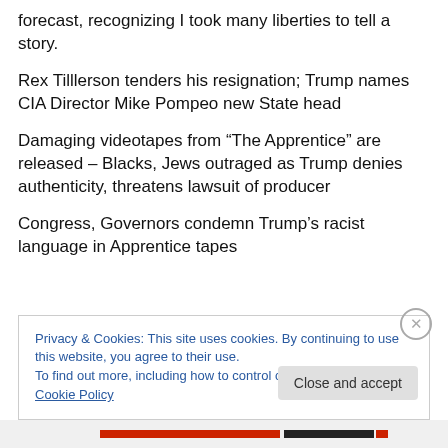forecast, recognizing I took many liberties to tell a story.
Rex Tilllerson tenders his resignation; Trump names CIA Director Mike Pompeo new State head
Damaging videotapes from “The Apprentice” are released – Blacks, Jews outraged as Trump denies authenticity, threatens lawsuit of producer
Congress, Governors condemn Trump’s racist language in Apprentice tapes
Privacy & Cookies: This site uses cookies. By continuing to use this website, you agree to their use.
To find out more, including how to control cookies, see here: Cookie Policy